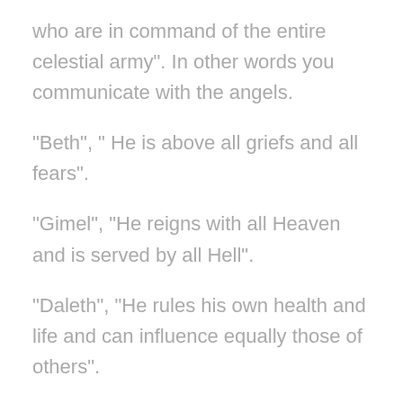who are in command of the entire celestial army". In other words you communicate with the angels.
"Beth", " He is above all griefs and all fears".
"Gimel", "He reigns with all Heaven and is served by all Hell".
"Daleth", "He rules his own health and life and can influence equally those of others".
"He", "He can neither be surprised by misfortune nor overwhelmed by disasters nor can he be conquered by his enemies".
"..."